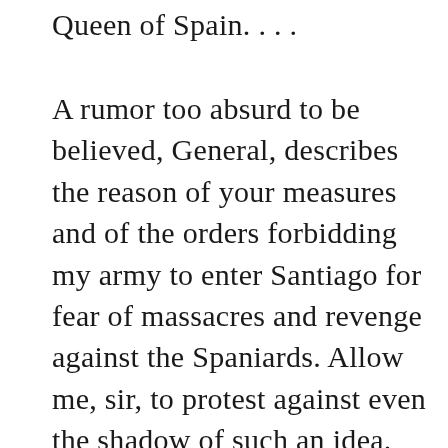Queen of Spain. . . .
A rumor too absurd to be believed, General, describes the reason of your measures and of the orders forbidding my army to enter Santiago for fear of massacres and revenge against the Spaniards. Allow me, sir, to protest against even the shadow of such an idea. We are not savages ignoring the rules of civilized warfare. We are a poor, ragged army, as ragged and poor